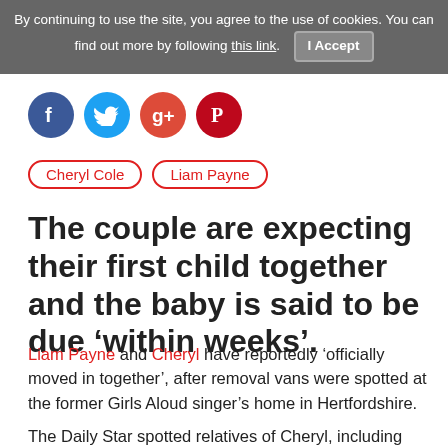By continuing to use the site, you agree to the use of cookies. You can find out more by following this link. I Accept
[Figure (other): Social media share icons: Facebook, Twitter, Google+, Pinterest]
Cheryl Cole
Liam Payne
The couple are expecting their first child together and the baby is said to be due ‘within weeks’.
Liam Payne and Cheryl have reportedly ‘officially moved in together’, after removal vans were spotted at the former Girls Aloud singer’s home in Hertfordshire.
The Daily Star spotted relatives of Cheryl, including